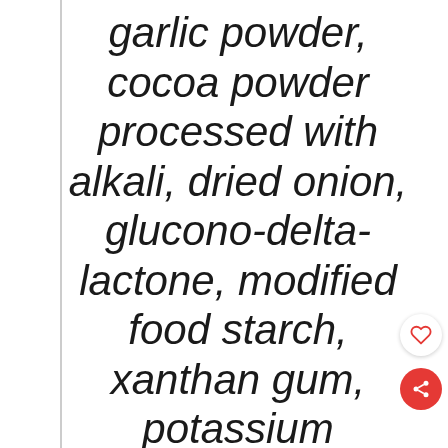garlic powder, cocoa powder processed with alkali, dried onion, glucono-delta-lactone, modified food starch, xanthan gum, potassium sorbate (P), sodium benzoate (P), sorbic